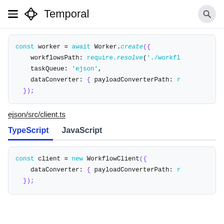Temporal
[Figure (screenshot): Code block showing worker creation with workflowsPath, taskQueue and dataConverter options]
ejson/src/client.ts
TypeScript  JavaScript
[Figure (screenshot): Code block showing WorkflowClient creation with dataConverter option]